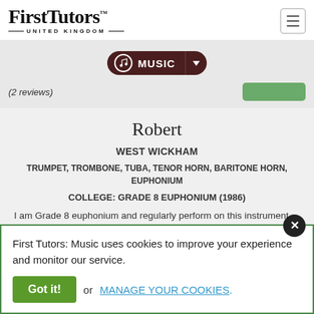[Figure (logo): First Tutors United Kingdom logo with hamburger menu icon]
[Figure (screenshot): Music navigation bar with music note icon and MUSIC dropdown button]
(2 reviews)
Robert
WEST WICKHAM
TRUMPET, TROMBONE, TUBA, TENOR HORN, BARITONE HORN, EUPHONIUM
COLLEGE: GRADE 8 EUPHONIUM (1986)
I am Grade 8 euphonium and regularly perform on this instrument.
First Tutors: Music uses cookies to improve your experience and monitor our service. Got it! or MANAGE YOUR COOKIES.